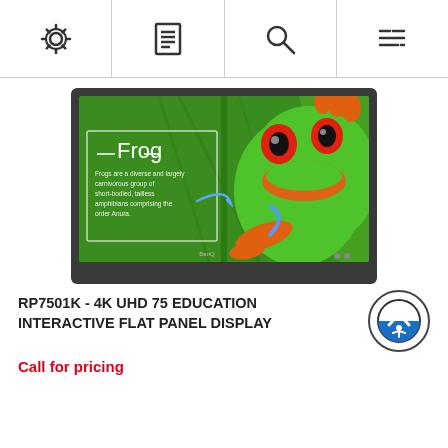[Figure (screenshot): Navigation bar with four icons: gear/settings, document/menu, search/magnifying glass, and filter/list icon]
[Figure (photo): BenQ RP7501K interactive flat panel display monitor showing a frog educational slide on screen with a red-eyed tree frog image]
RP7501K - 4K UHD 75 EDUCATION INTERACTIVE FLAT PANEL DISPLAY
Call for pricing